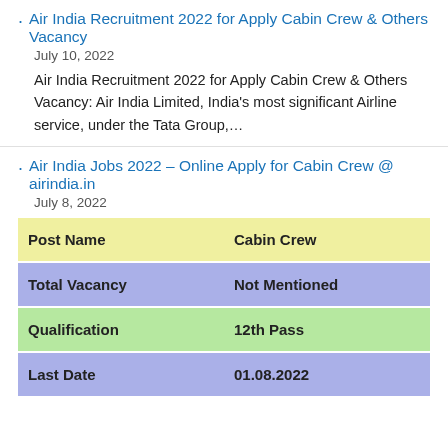Air India Recruitment 2022 for Apply Cabin Crew & Others Vacancy
July 10, 2022
Air India Recruitment 2022 for Apply Cabin Crew & Others Vacancy: Air India Limited, India's most significant Airline service, under the Tata Group,…
Air India Jobs 2022 – Online Apply for Cabin Crew @ airindia.in
July 8, 2022
| Post Name | Cabin Crew |
| --- | --- |
| Total Vacancy | Not Mentioned |
| Qualification | 12th Pass |
| Last Date | 01.08.2022 |